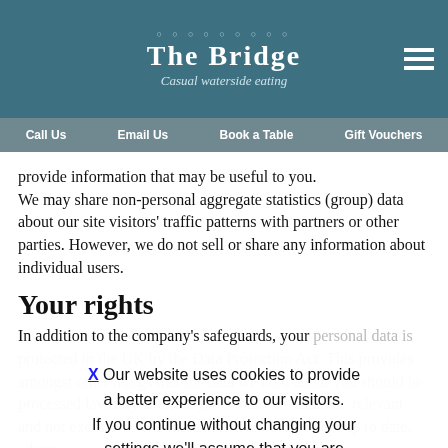The Bridge — Casual waterside eating
Call Us | Email Us | Book a Table | Gift Vouchers
provide information that may be useful to you. We may share non-personal aggregate statistics (group) data about our site visitors' traffic patterns with partners or other parties. However, we do not sell or share any information about individual users.
Your rights
In addition to the company's safeguards, your personal data is protected in the UK by the Data Protection Act. This provides amongst other things that the data we hold about you should be processed lawfully and fairly. It should be accurate, relevant and not excessive. The information should be kept up to date, where
Our website uses cookies to provide a better experience to our visitors. If you continue without changing your settings we'll assume that you are happy with this. More info...